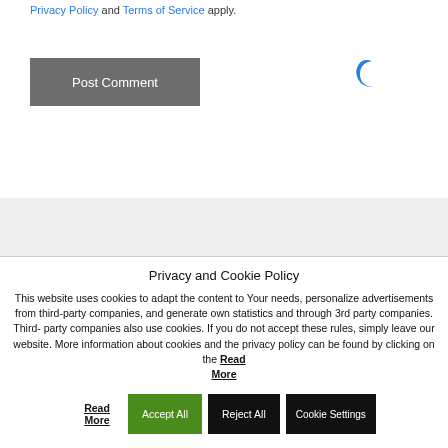Privacy Policy and Terms of Service apply.
[Figure (other): Post Comment button (gray rectangle with white text)]
[Figure (other): Dark mode moon icon (blue crescent moon shape)]
Privacy and Cookie Policy
This website uses cookies to adapt the content to Your needs, personalize advertisements from third-party companies, and generate own statistics and through 3rd party companies. Third-party companies also use cookies. If you do not accept these rules, simply leave our website. More information about cookies and the privacy policy can be found by clicking on the Read More
Accept All  Reject All  Cookie Settings